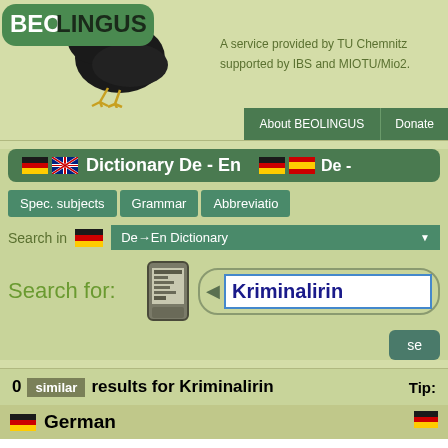[Figure (screenshot): BEOLINGUS logo with raven bird mascot]
A service provided by TU Chemnitz supported by IBS and MIOTU/Mio2.
About BEOLINGUS  Donate
Dictionary De - En  De - ...
Spec. subjects  Grammar  Abbreviatio...
Search in  De→En Dictionary
Search for: Kriminalirin
0 similar results for Kriminalirin  Tip:
German
Similar words:
    Kriminalistin

Spelling ok, no further suggestions.

Unfortunately the dictionary knows no translation for this word.
    Search for similar words